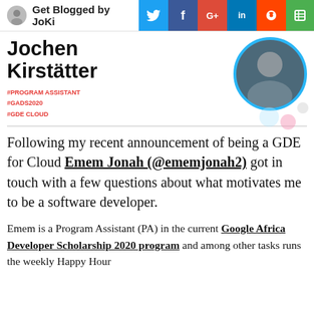Get Blogged by JoKi
Jochen Kirstätter
#PROGRAM ASSISTANT
#GADS2020
#GDE CLOUD
Following my recent announcement of being a GDE for Cloud Emem Jonah (@ememjonah2) got in touch with a few questions about what motivates me to be a software developer.
Emem is a Program Assistant (PA) in the current Google Africa Developer Scholarship 2020 program and among other tasks runs the weekly Happy Hour